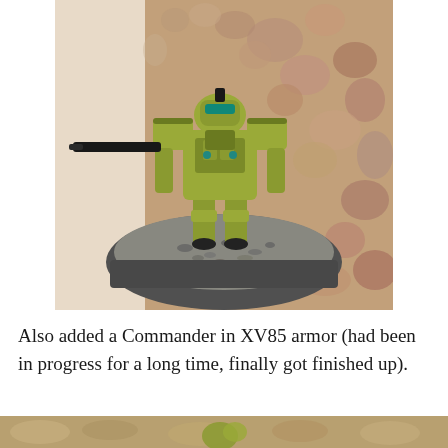[Figure (photo): A painted Warhammer 40K Tau Commander in XV85 battlesuit armor, painted olive/yellow-green, standing on a textured grey gravel base. The miniature is posed on a white surface against a patterned backdrop showing round stones in pink and brown tones.]
Also added a Commander in XV85 armor (had been in progress for a long time, finally got finished up).
[Figure (photo): Partial view of another miniature or scene, partially cropped at the bottom of the page.]